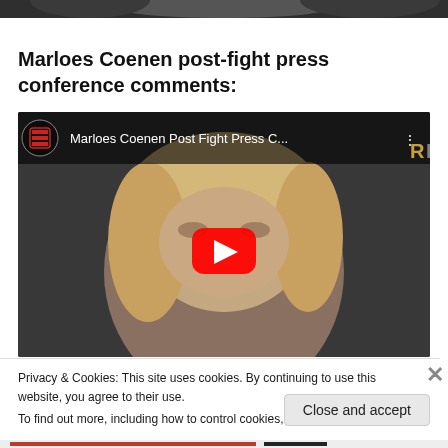[Figure (photo): Partial photo of a person at the top of the page, cropped]
Marloes Coenen post-fight press conference comments:
[Figure (screenshot): YouTube video embed thumbnail showing Marloes Coenen Post Fight Press C... with red play button overlay and YouTube logo]
Privacy & Cookies: This site uses cookies. By continuing to use this website, you agree to their use.
To find out more, including how to control cookies, see here: Cookie Policy
Close and accept